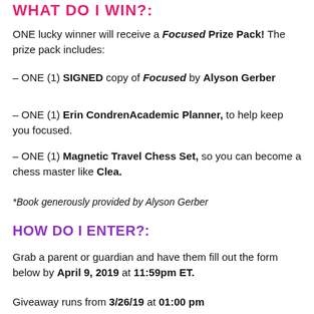WHAT DO I WIN?:
ONE lucky winner will receive a Focused Prize Pack! The prize pack includes:
– ONE (1) SIGNED copy of Focused by Alyson Gerber
– ONE (1) Erin Condren Academic Planner, to help keep you focused.
– ONE (1) Magnetic Travel Chess Set, so you can become a chess master like Clea.
*Book generously provided by Alyson Gerber
HOW DO I ENTER?:
Grab a parent or guardian and have them fill out the form below by April 9, 2019 at 11:59pm ET.
Giveaway runs from 3/26/19 at 01:00 pm